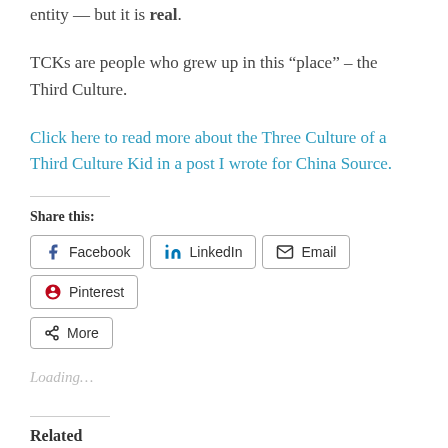entity — but it is real.
TCKs are people who grew up in this “place” – the Third Culture.
Click here to read more about the Three Culture of a Third Culture Kid in a post I wrote for China Source.
Share this:
Facebook  LinkedIn  Email  Pinterest  More
Loading...
Related